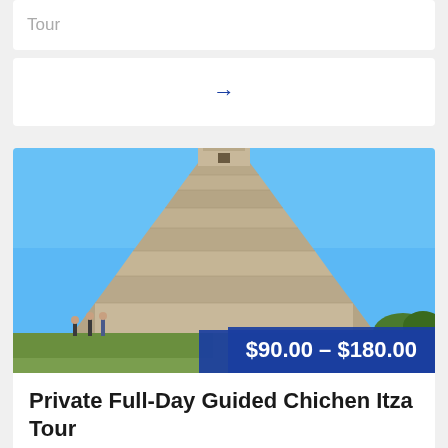Tour
[Figure (illustration): A right-pointing arrow icon in blue]
[Figure (photo): Photo of Chichen Itza pyramid (El Castillo) under a clear blue sky with a price overlay showing $90.00 – $180.00]
Private Full-Day Guided Chichen Itza Tour
Private Full-Day Guided Chichen Itza...